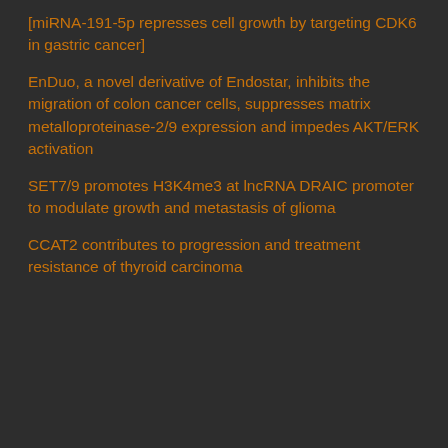[miRNA-191-5p represses cell growth by targeting CDK6 in gastric cancer]
EnDuo, a novel derivative of Endostar, inhibits the migration of colon cancer cells, suppresses matrix metalloproteinase-2/9 expression and impedes AKT/ERK activation
SET7/9 promotes H3K4me3 at lncRNA DRAIC promoter to modulate growth and metastasis of glioma
CCAT2 contributes to progression and treatment resistance of thyroid carcinoma